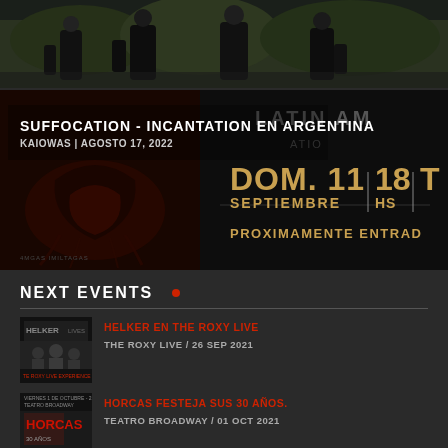[Figure (photo): Band photo showing 4 members standing outdoors in dark clothing against green foliage background]
[Figure (photo): Event promotional banner for Suffocation - Incantation en Argentina concert. Shows metal band logo artwork with text: DOM. 11 SEPTIEMBRE / 18 HS / PROXIMAMENTE ENTRAD. Text overlay shows LATIN AM, ATIO.]
SUFFOCATION - INCANTATION EN ARGENTINA
KAIOWAS | AGOSTO 17, 2022
NEXT EVENTS .
HELKER EN THE ROXY LIVE
THE ROXY LIVE / 26 SEP 2021
HORCAS FESTEJA SUS 30 AÑOS.
TEATRO BROADWAY / 01 OCT 2021